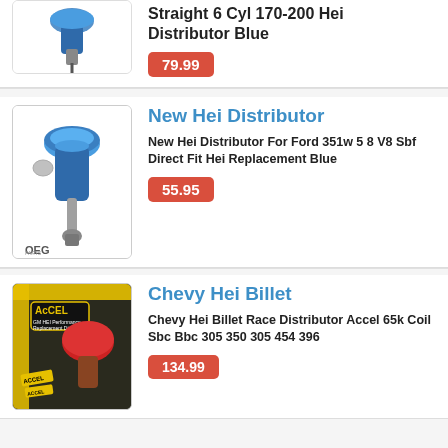[Figure (photo): Partial top distributor product image (blue distributor, cropped)]
Straight 6 Cyl 170-200 Hei Distributor Blue
79.99
[Figure (photo): New Hei Distributor product image with OEG logo, blue HEI distributor on white background]
New Hei Distributor
New Hei Distributor For Ford 351w 5 8 V8 Sbf Direct Fit Hei Replacement Blue
55.95
[Figure (photo): Chevy Hei Billet product photo showing Accel branded distributor with red cap in box]
Chevy Hei Billet
Chevy Hei Billet Race Distributor Accel 65k Coil Sbc Bbc 305 350 305 454 396
134.99